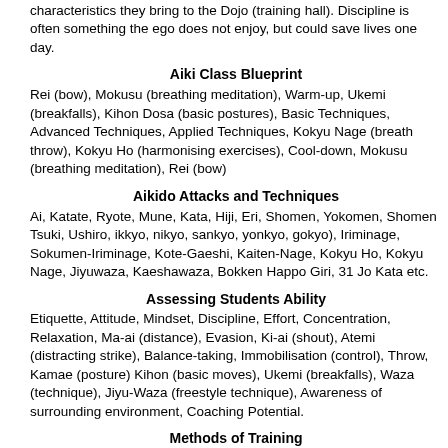characteristics they bring to the Dojo (training hall). Discipline is often something the ego does not enjoy, but could save lives one day.
Aiki Class Blueprint
Rei (bow), Mokusu (breathing meditation), Warm-up, Ukemi (breakfalls), Kihon Dosa (basic postures), Basic Techniques, Advanced Techniques, Applied Techniques, Kokyu Nage (breath throw), Kokyu Ho (harmonising exercises), Cool-down, Mokusu (breathing meditation), Rei (bow)
Aikido Attacks and Techniques
Ai, Katate, Ryote, Mune, Kata, Hiji, Eri, Shomen, Yokomen, Shomen Tsuki, Ushiro, ikkyo, nikyo, sankyo, yonkyo, gokyo), Iriminage, Sokumen-Iriminage, Kote-Gaeshi, Kaiten-Nage, Kokyu Ho, Kokyu Nage, Jiyuwaza, Kaeshawaza, Bokken Happo Giri, 31 Jo Kata etc.
Assessing Students Ability
Etiquette, Attitude, Mindset, Discipline, Effort, Concentration, Relaxation, Ma-ai (distance), Evasion, Ki-ai (shout), Atemi (distracting strike), Balance-taking, Immobilisation (control), Throw, Kamae (posture) Kihon (basic moves), Ukemi (breakfalls), Waza (technique), Jiyu-Waza (freestyle technique), Awareness of surrounding environment, Coaching Potential.
Methods of Training
Accumulating Techniques, Analyzing Form, Understanding Principles, Big to Small, Slow to Fast, Tensed to Relaxed, Stylized to Realistic.
Aiki Principles
Breath control, relaxation, non-resistance, connection, balance taking, circles, leading the mind, Mind Moves Body, Keep One Point, Relax, Extend Ki, weight dropping, weight shifting, double-weighting, pain incentive, avoid direct conflict, allow, triangulation points,